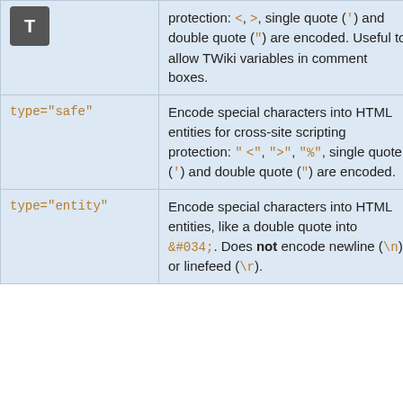| Parameter | Description | Default |
| --- | --- | --- |
| (icon T) | protection: <, >, single quote (') and double quote (") are encoded. Useful to allow TWiki variables in comment boxes. |  |
| type="safe" | Encode special characters into HTML entities for cross-site scripting protection: "<", ">", "%", single quote (') and double quote (") are encoded. | type="url" |
| type="entity" | Encode special characters into HTML entities, like a double quote into &#034;. Does not encode newline (\n) or linefeed (\r). | type="url" |